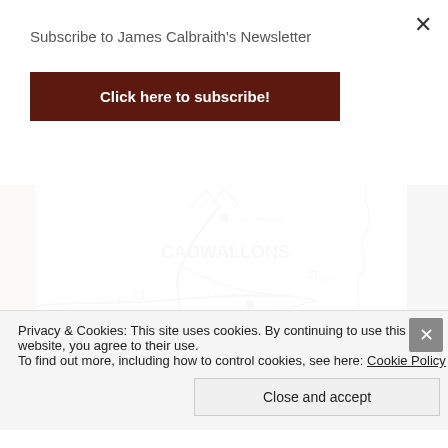Subscribe to James Calbraith's Newsletter
Click here to subscribe!
[Figure (map): A hand-drawn style map showing tribal territories including CADWALLONS, TRINOWAUNTS, and ONDIN. Labeled locations include DEIROLIPPTONS, WERLAM, COLN, CAESAR'S MARKET, and small square markers for settlements.]
Privacy & Cookies: This site uses cookies. By continuing to use this website, you agree to their use.
To find out more, including how to control cookies, see here: Cookie Policy
Close and accept